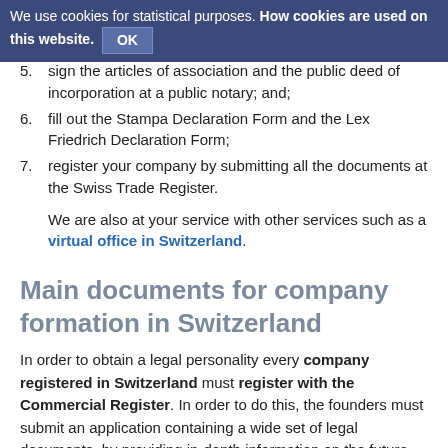We use cookies for statistical purposes. How cookies are used on this website. OK
5. sign the articles of association and the public deed of incorporation at a public notary; and;
6. fill out the Stampa Declaration Form and the Lex Friedrich Declaration Form;
7. register your company by submitting all the documents at the Swiss Trade Register.
We are also at your service with other services such as a virtual office in Switzerland.
Main documents for company formation in Switzerland
In order to obtain a legal personality every company registered in Switzerland must register with the Commercial Register. In order to do this, the founders must submit an application containing a wide set of legal documents, by providing in-depth information on the future business and its activities. These are the documents and information needed in the process of company formation in Switzerland: